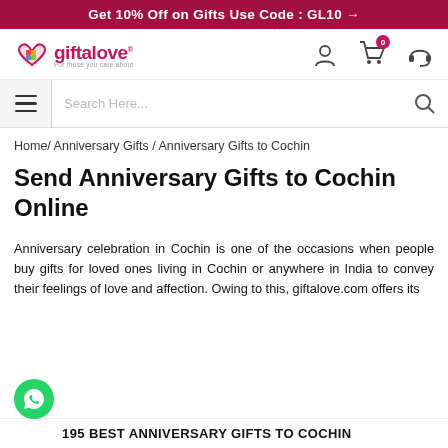Get 10% Off on Gifts Use Code : GL10 →
[Figure (logo): giftalove logo with heart icon and tagline 'For those you care about']
Search Here...
Home/ Anniversary Gifts / Anniversary Gifts to Cochin
Send Anniversary Gifts to Cochin Online
Anniversary celebration in Cochin is one of the occasions when people buy gifts for loved ones living in Cochin or anywhere in India to convey their feelings of love and affection. Owing to this, giftalove.com offers its
195 BEST ANNIVERSARY GIFTS TO COCHIN